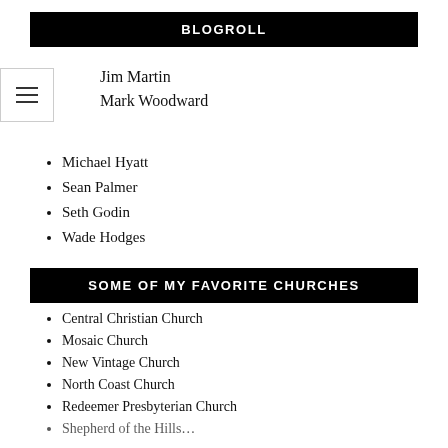BLOGROLL
Jim Martin
Mark Woodward
Michael Hyatt
Sean Palmer
Seth Godin
Wade Hodges
SOME OF MY FAVORITE CHURCHES
Central Christian Church
Mosaic Church
New Vintage Church
North Coast Church
Redeemer Presbyterian Church
Shepherd of the Hills